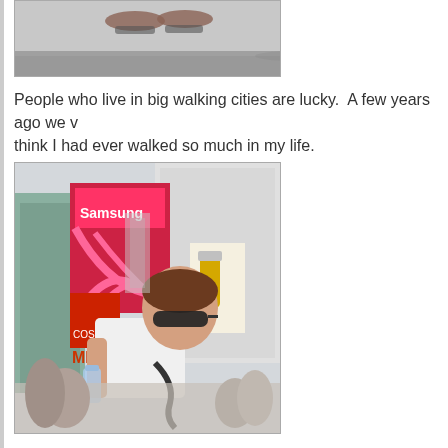[Figure (photo): Partial photo showing feet/shoes at top of page, cropped]
People who live in big walking cities are lucky.  A few years ago we v... think I had ever walked so much in my life.
[Figure (photo): Woman with sunglasses standing in Times Square New York, billboards visible including Samsung, city buildings in background]
While there I saw the coolest thing ever.  A guy walking his cat on a...